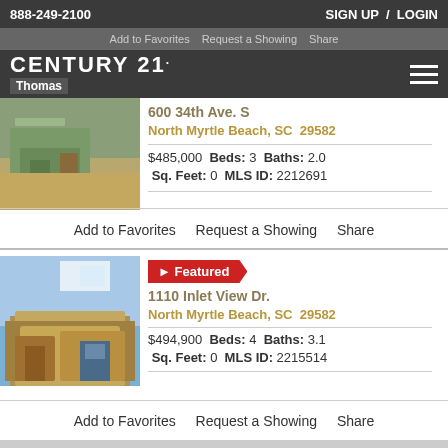888-249-2100   SIGN UP / LOGIN
Add to Favorites  Request a Showing  Share
CENTURY 21. Thomas
600 34th Ave. S
North Myrtle Beach, SC  29582
$485,000  Beds: 3  Baths: 2.0
Sq. Feet: 0  MLS ID: 2212691
Add to Favorites  Request a Showing  Share
Featured
1110 Inlet View Dr.
North Myrtle Beach, SC  29582
$494,900  Beds: 4  Baths: 3.1
Sq. Feet: 0  MLS ID: 2215514
Add to Favorites  Request a Showing  Share